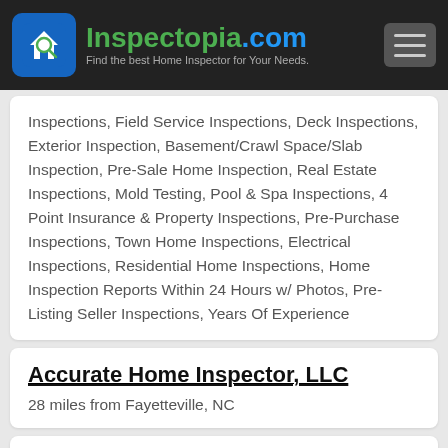Inspectopia.com - Find the best Home Inspector for Your Needs.
Inspections, Field Service Inspections, Deck Inspections, Exterior Inspection, Basement/Crawl Space/Slab Inspection, Pre-Sale Home Inspection, Real Estate Inspections, Mold Testing, Pool & Spa Inspections, 4 Point Insurance & Property Inspections, Pre-Purchase Inspections, Town Home Inspections, Electrical Inspections, Residential Home Inspections, Home Inspection Reports Within 24 Hours w/ Photos, Pre-Listing Seller Inspections, Years Of Experience
Accurate Home Inspector, LLC
28 miles from Fayetteville, NC
Thorough and expert home inspection services, with